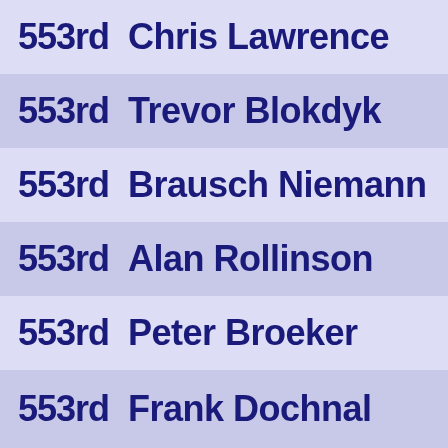553rd  Chris Lawrence
553rd  Trevor Blokdyk
553rd  Brausch Niemann
553rd  Alan Rollinson
553rd  Peter Broeker
553rd  Frank Dochnal